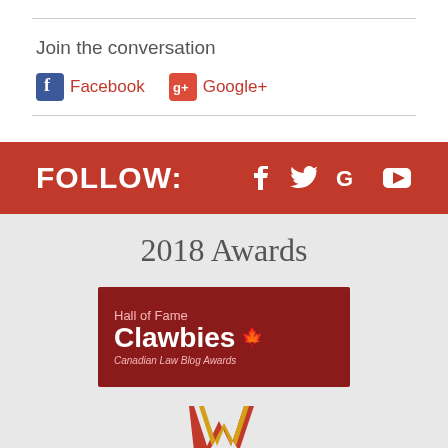Join the conversation
Facebook  Google+
[Figure (infographic): Red banner with FOLLOW: text on left and social media icons (Facebook, Twitter, Google+, YouTube) on right in white]
2018 Awards
[Figure (logo): Hall of Fame Clawbies Canadian Law Blog Awards badge on dark red background]
[Figure (logo): W logo in red and gold at bottom of page]